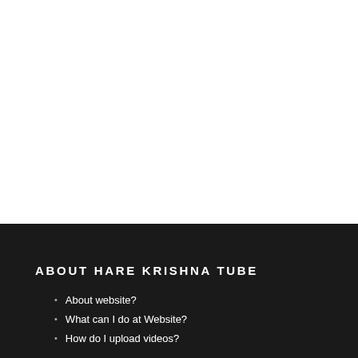ABOUT HARE KRISHNA TUBE
About website?
What can I do at Website?
How do I upload videos?